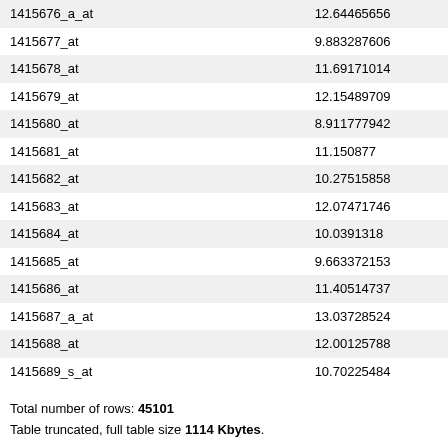|  |  |
| --- | --- |
| 1415676_a_at | 12.64465656 |
| 1415677_at | 9.883287606 |
| 1415678_at | 11.69171014 |
| 1415679_at | 12.15489709 |
| 1415680_at | 8.911777942 |
| 1415681_at | 11.150877 |
| 1415682_at | 10.27515858 |
| 1415683_at | 12.07471746 |
| 1415684_at | 10.0391318 |
| 1415685_at | 9.663372153 |
| 1415686_at | 11.40514737 |
| 1415687_a_at | 13.03728524 |
| 1415688_at | 12.00125788 |
| 1415689_s_at | 10.70225484 |
Total number of rows: 45101
Table truncated, full table size 1114 Kbytes.
View full table...
| Supplementary file | Size | Download |
| --- | --- | --- |
| GSM1520965_Untreated_4-weeks_1.CEL.gz | 6.0 Mb | (ftp)(http) |
Raw data provided as supplementary file